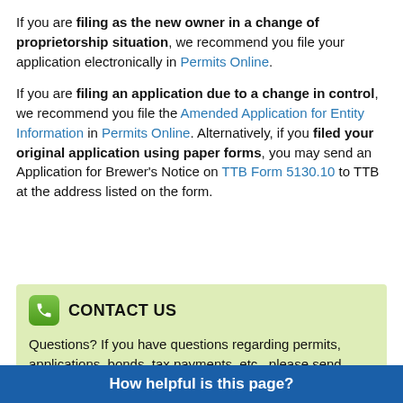If you are filing as the new owner in a change of proprietorship situation, we recommend you file your application electronically in Permits Online.
If you are filing an application due to a change in control, we recommend you file the Amended Application for Entity Information in Permits Online. Alternatively, if you filed your original application using paper forms, you may send an Application for Brewer's Notice on TTB Form 5130.10 to TTB at the address listed on the form.
CONTACT US
Questions? If you have questions regarding permits, applications, bonds, tax payments, etc., please send
How helpful is this page?